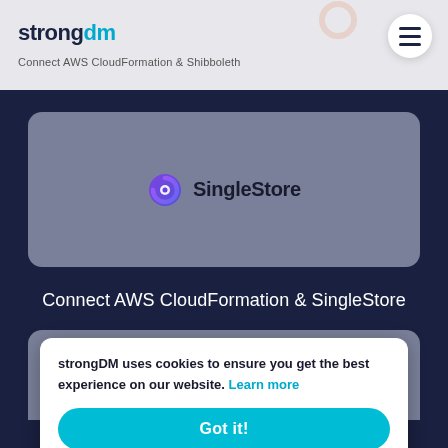strongdm — Connect AWS CloudFormation & Shibboleth
[Figure (logo): SingleStore logo with purple swirl icon and text 'SingleStore' on a grey card background]
Connect AWS CloudFormation & SingleStore
strongDM uses cookies to ensure you get the best experience on our website. Learn more
Got it!